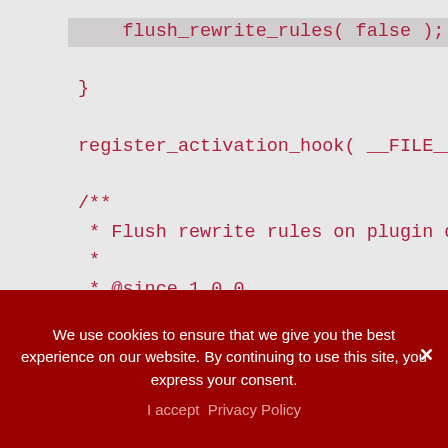flush_rewrite_rules( false );
}

register_activation_hook( __FILE__, '

/**
 * Flush rewrite rules on plugin dead
 *
 * @since 1.0.0
 */
function evolution_disable_embeds_flu
    remove_filter( 'rewrite_rules_ar
    flush_rewrite_rules( false );
}
We use cookies to ensure that we give you the best experience on our website. By continuing to use this site, you express your consent.
I accept  Privacy Policy